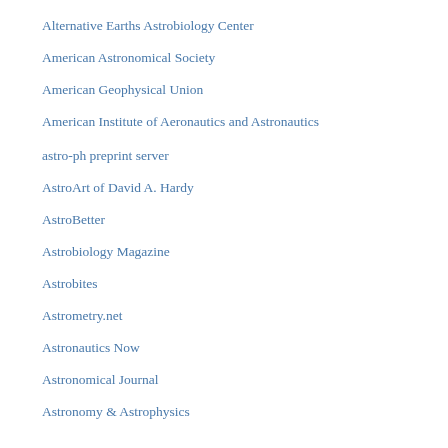Alternative Earths Astrobiology Center
American Astronomical Society
American Geophysical Union
American Institute of Aeronautics and Astronautics
astro-ph preprint server
AstroArt of David A. Hardy
AstroBetter
Astrobiology Magazine
Astrobites
Astrometry.net
Astronautics Now
Astronomical Journal
Astronomy & Astrophysics
Astronomy Picture of the Day
Astrophysical Journal